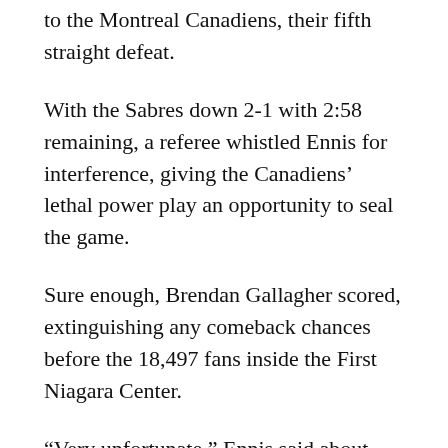to the Montreal Canadiens, their fifth straight defeat.
With the Sabres down 2-1 with 2:58 remaining, a referee whistled Ennis for interference, giving the Canadiens' lethal power play an opportunity to seal the game.
Sure enough, Brendan Gallagher scored, extinguishing any comeback chances before the 18,497 fans inside the First Niagara Center.
“Very unfortunate,” Ennis said about taking a late penalty. “I feel terrible about.”
Penalties, of course, have been dooming the Sabres. They’ve allowed seven power-play goals during their losing skid. The Canadiens